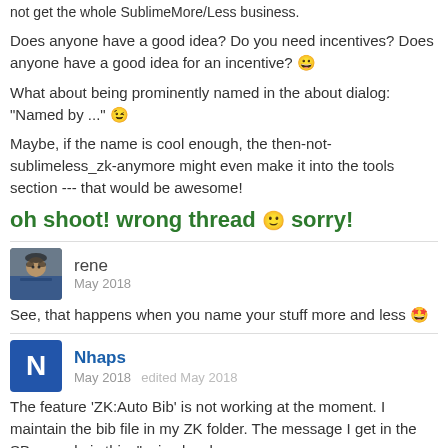not get the whole SublimeMore/Less business.
Does anyone have a good idea? Do you need incentives? Does anyone have a good idea for an incentive? 😀
What about being prominently named in the about dialog: "Named by ..." 😉
Maybe, if the name is cool enough, the then-not-sublimeless_zk-anymore might even make it into the tools section --- that would be awesome!
oh shoot! wrong thread 🙂 sorry!
rene
May 2018
See, that happens when you name your stuff more and less 🤩
Nhaps
May 2018   edited May 2018
The feature 'ZK:Auto Bib' is not working at the moment. I maintain the bib file in my ZK folder. The message I get in the SB console is this: "using local /Users/.../Zettelkasten/Bibliography.bib" and at the end of the note there is the comment with the cite key and "no bib generated"